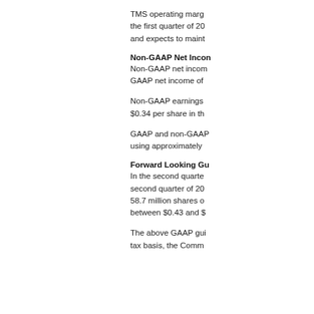TMS operating marg the first quarter of 20 and expects to maint
Non-GAAP Net Incon
Non-GAAP net incom GAAP net income of
Non-GAAP earnings $0.34 per share in th
GAAP and non-GAAP using approximately
Forward Looking Gu
In the second quarte second quarter of 20 58.7 million shares o between $0.43 and $
The above GAAP gui tax basis, the Comm